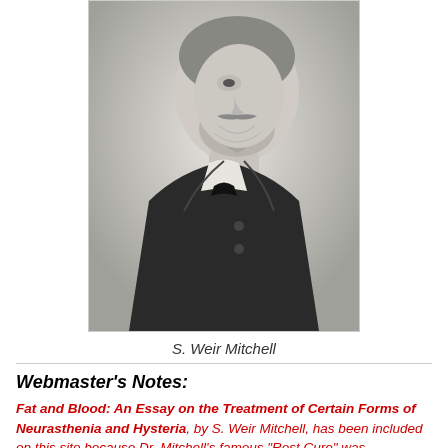[Figure (photo): Black and white portrait photograph of S. Weir Mitchell, an elderly bearded man in profile/three-quarter view, wearing a dark coat.]
S. Weir Mitchell
Webmaster's Notes:
Fat and Blood: An Essay on the Treatment of Certain Forms of Neurasthenia and Hysteria, by S. Weir Mitchell, has been included on this site because Dr. Mitchell's famous "Rest Cure" was instrumental in changing the course of Charlotte Perkins Gilman's life, and, indeed, the infamous cure was cited several times by Gilman.